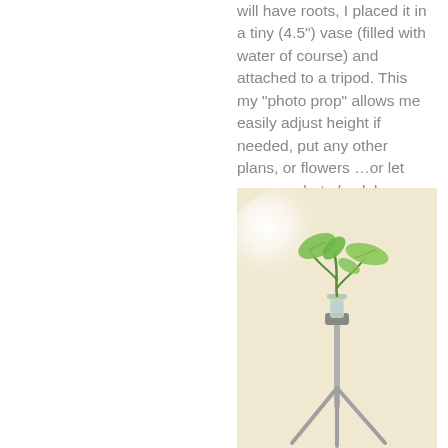will have roots, I placed it in a tiny (4.5") vase (filled with water of course) and attached to a tripod. This my “photo prop” allows me easily adjust height if needed, put any other plans, or flowers …or let me see what else lol
[Figure (photo): A small green plant cutting in a tiny vase attached to a tripod, against a light beige/cream background with a soft white circular light reflection]